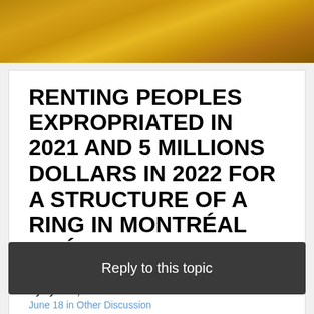[Figure (photo): Golden/amber sky background banner image at top of page]
RENTING PEOPLES EXPROPRIATED IN 2021 AND 5 MILLIONS DOLLARS IN 2022 FOR A STRUCTURE OF A RING IN MONTRÉAL QUÉBEC
By sylvain,
June 18 in Other Discussion
Reply to this topic